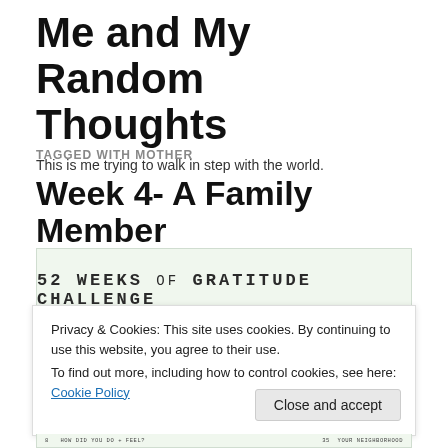Me and My Random Thoughts
This is me trying to walk in step with the world.
TAGGED WITH MOTHER
Week 4- A Family Member
[Figure (other): 52 Weeks of Gratitude Challenge image/card with list items partially visible]
Privacy & Cookies: This site uses cookies. By continuing to use this website, you agree to their use.
To find out more, including how to control cookies, see here: Cookie Policy